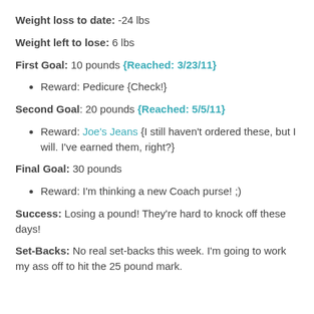Weight loss to date: -24 lbs
Weight left to lose: 6 lbs
First Goal: 10 pounds {Reached: 3/23/11}
Reward: Pedicure {Check!}
Second Goal: 20 pounds {Reached: 5/5/11}
Reward: Joe's Jeans {I still haven't ordered these, but I will. I've earned them, right?}
Final Goal: 30 pounds
Reward: I'm thinking a new Coach purse! ;)
Success: Losing a pound! They're hard to knock off these days!
Set-Backs: No real set-backs this week. I'm going to work my ass off to hit the 25 pound mark.